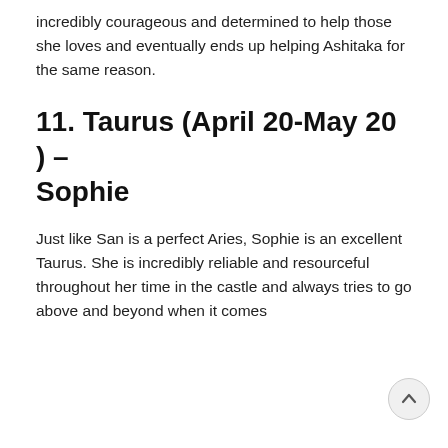incredibly courageous and determined to help those she loves and eventually ends up helping Ashitaka for the same reason.
11. Taurus (April 20-May 20 ) – Sophie
Just like San is a perfect Aries, Sophie is an excellent Taurus. She is incredibly reliable and resourceful throughout her time in the castle and always tries to go above and beyond when it comes to giving her friends emotional support...